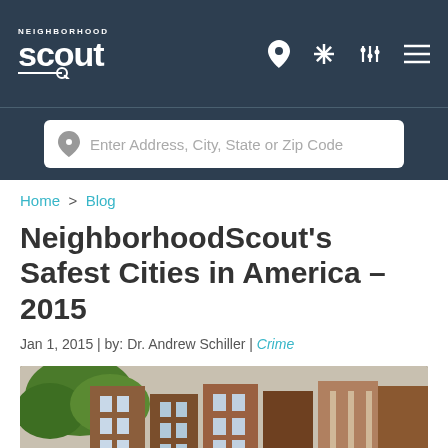NEIGHBORHOOD scout — navigation bar with search input: Enter Address, City, State or Zip Code
Home > Blog
NeighborhoodScout's Safest Cities in America – 2015
Jan 1, 2015 | by: Dr. Andrew Schiller | Crime
[Figure (photo): Street-level photo of brownstone/brick residential buildings with trees]